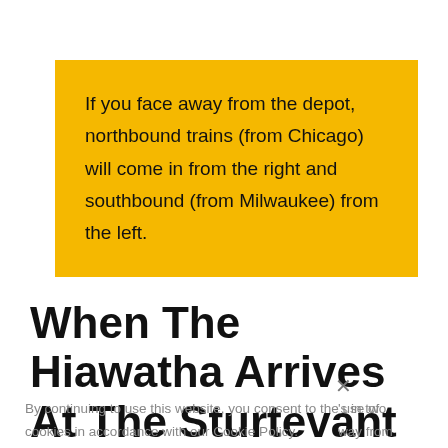If you face away from the depot, northbound trains (from Chicago) will come in from the right and southbound (from Milwaukee) from the left.
When The Hiawatha Arrives At The Sturtevant Depot
By continuing to use this website, you consent to the use of cookies in accordance with our Cookie Policy.
's in two way from